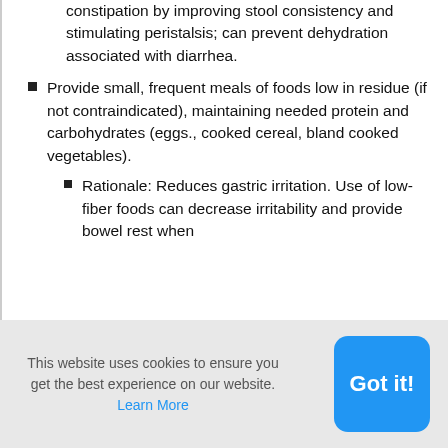constipation by improving stool consistency and stimulating peristalsis; can prevent dehydration associated with diarrhea.
Provide small, frequent meals of foods low in residue (if not contraindicated), maintaining needed protein and carbohydrates (eggs., cooked cereal, bland cooked vegetables).
Rationale: Reduces gastric irritation. Use of low-fiber foods can decrease irritability and provide bowel rest when
This website uses cookies to ensure you get the best experience on our website. Learn More